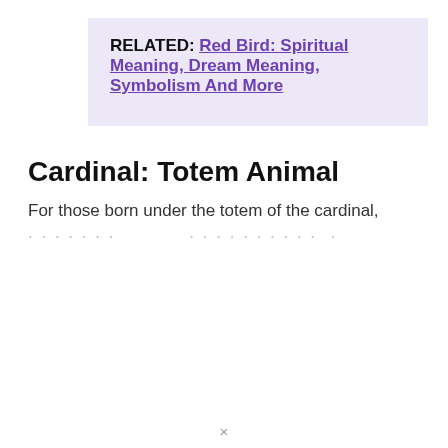RELATED: Red Bird: Spiritual Meaning, Dream Meaning, Symbolism And More
Cardinal: Totem Animal
For those born under the totem of the cardinal,
...
×